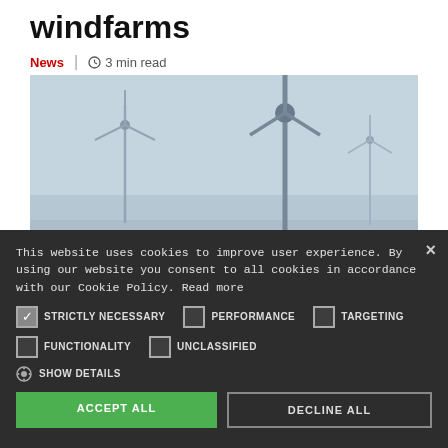windfarms
News | 3 min read
[Figure (photo): Offshore wind turbines photographed against a pale grey sky]
This website uses cookies to improve user experience. By using our website you consent to all cookies in accordance with our Cookie Policy. Read more
STRICTLY NECESSARY (checked), PERFORMANCE (unchecked), TARGETING (unchecked)
FUNCTIONALITY (unchecked), UNCLASSIFIED (unchecked)
SHOW DETAILS
ACCEPT ALL | DECLINE ALL